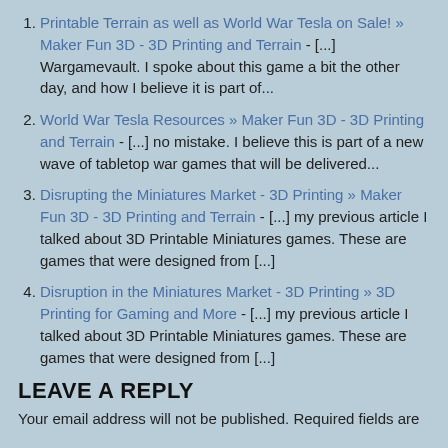Printable Terrain as well as World War Tesla on Sale! » Maker Fun 3D - 3D Printing and Terrain - [...] Wargamevault.  I spoke about this game a bit the other day, and how I believe it is part of...
World War Tesla Resources » Maker Fun 3D - 3D Printing and Terrain - [...] no mistake.  I believe this is part of a new wave of tabletop war games that will be delivered...
Disrupting the Miniatures Market - 3D Printing » Maker Fun 3D - 3D Printing and Terrain - [...] my previous article I talked about 3D Printable Miniatures games.  These are games that were designed from [...]
Disruption in the Miniatures Market - 3D Printing » 3D Printing for Gaming and More - [...] my previous article I talked about 3D Printable Miniatures games.  These are games that were designed from [...]
LEAVE A REPLY
Your email address will not be published. Required fields are